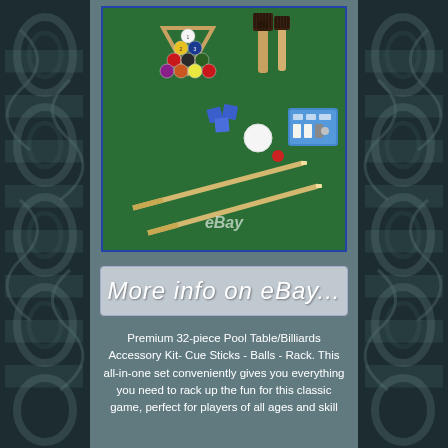[Figure (photo): Photo of a 32-piece pool table/billiards accessory kit showing billiard balls in a triangle rack, cue sticks, brushes, chalk cubes, a cue repair kit, and other accessories on a green felt surface. eBay watermark visible.]
[Figure (other): eBay banner button with italic script text reading 'More info on eBay...' on a light grey/blue background with subtle banner design.]
Premium 32-piece Pool Table/Billiards Accessory Kit- Cue Sticks - Balls - Rack. This all-in-one set conveniently gives you everything you need to rack up the fun for this classic game, perfect for players of all ages and skill